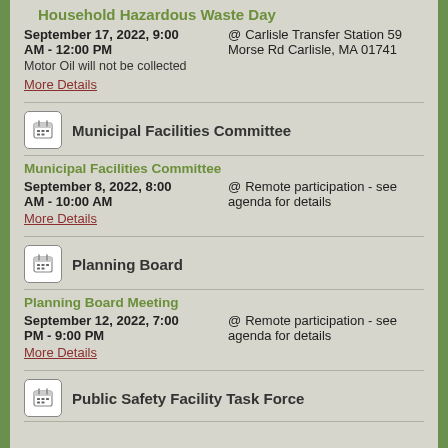Household Hazardous Waste Day
September 17, 2022, 9:00 AM - 12:00 PM @ Carlisle Transfer Station 59 Morse Rd Carlisle, MA 01741
Motor Oil will not be collected
More Details
Municipal Facilities Committee
Municipal Facilities Committee
September 8, 2022, 8:00 AM - 10:00 AM @ Remote participation - see agenda for details
More Details
Planning Board
Planning Board Meeting
September 12, 2022, 7:00 PM - 9:00 PM @ Remote participation - see agenda for details
More Details
Public Safety Facility Task Force